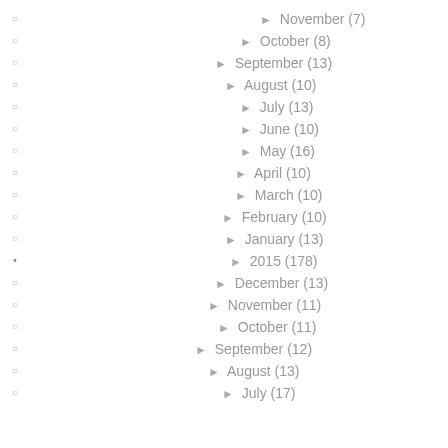► November (7)
► October (8)
► September (13)
► August (10)
► July (13)
► June (10)
► May (16)
► April (10)
► March (10)
► February (10)
► January (13)
► 2015 (178)
► December (13)
► November (11)
► October (11)
► September (12)
► August (13)
► July (17)